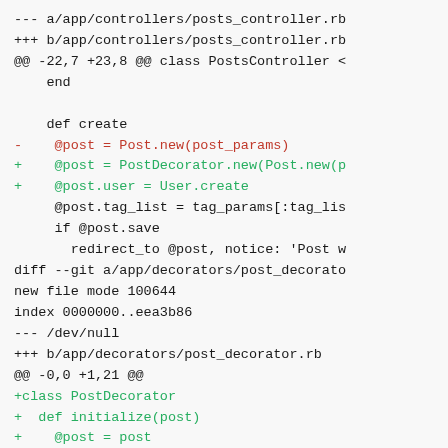--- a/app/controllers/posts_controller.rb
+++ b/app/controllers/posts_controller.rb
@@ -22,7 +23,8 @@ class PostsController <
    end

    def create
-    @post = Post.new(post_params)
+    @post = PostDecorator.new(Post.new(p
+    @post.user = User.create
     @post.tag_list = tag_params[:tag_lis
     if @post.save
       redirect_to @post, notice: 'Post w
diff --git a/app/decorators/post_decorato
new file mode 100644
index 0000000..eea3b86
--- /dev/null
+++ b/app/decorators/post_decorator.rb
@@ -0,0 +1,21 @@
+class PostDecorator
+  def initialize(post)
+    @post = post
+  end
+  def method_missing(method_name, *args